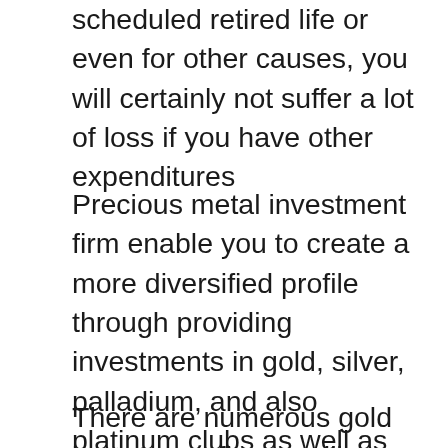scheduled retired life or even for other causes, you will certainly not suffer a lot of loss if you have other expenditures
Precious metal investment firm enable you to create a more diversified profile through providing investments in gold, silver, palladium, and also platinum clubs as well as coins. You can even invest in their cryptocurrency offers. These providers provide an exceptional possibility to buy a few actual bars and pieces for safe-keeping at your house, acquire a large assets to be stashed in a depository, or put together a gold IRA.
There are numerous gold investment firm readily available today. Competitors is